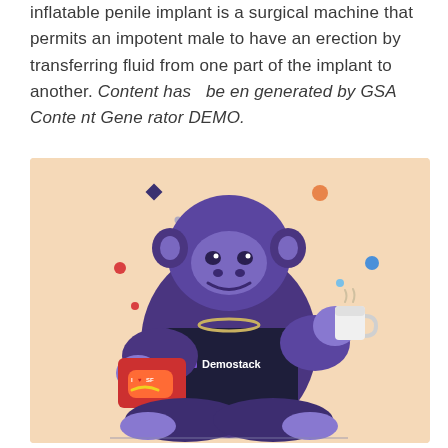inflatable penile implant is a surgical machine that permits an impotent male to have an erection by transferring fluid from one part of the implant to another. Content has been generated by GSA Content Generator DEMO.
[Figure (illustration): Illustrated gorilla character wearing a dark t-shirt with a Demostack logo, sitting cross-legged, holding a coffee cup in one hand and a red tablet/phone showing 'I love SF' sticker in the other hand, on a peach/beige background with colorful scattered dots (dark blue, orange, red, blue, light blue).]